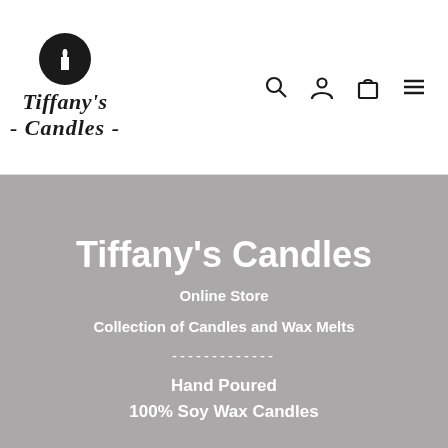[Figure (logo): Tiffany's Candles logo: black circle with candle icon, italic bold text 'Tiffany's' above '- Candles -']
[Figure (infographic): Navigation icons: search magnifying glass, user/account icon, shopping bag icon, hamburger menu icon]
Tiffany's Candles
Online Store
Collection of Candles and Wax Melts
-------------
Hand Poured
100% Soy Wax Candles